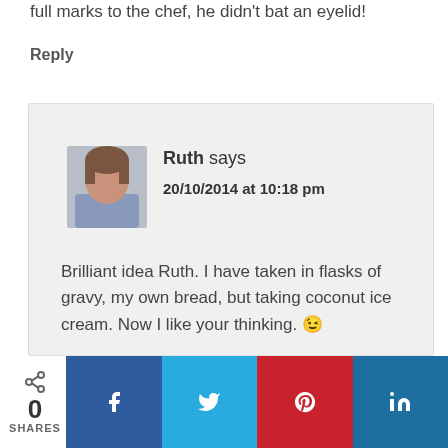full marks to the chef, he didn't bat an eyelid!
Reply
Ruth says
20/10/2014 at 10:18 pm
Brilliant idea Ruth. I have taken in flasks of gravy, my own bread, but taking coconut ice cream. Now I like your thinking. 😉
Reply
Ruth says
0
SHARES